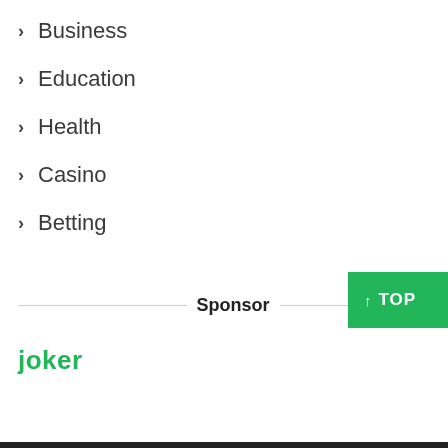> Business
> Education
> Health
> Casino
> Betting
Sponsor
↑ TOP
joker